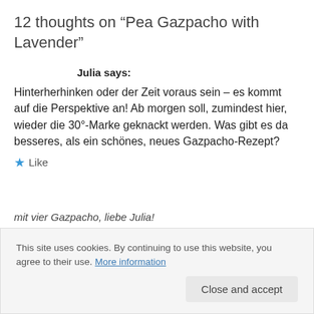12 thoughts on “Pea Gazpacho with Lavender”
Julia says:
Hinterherhinken oder der Zeit voraus sein – es kommt auf die Perspektive an! Ab morgen soll, zumindest hier, wieder die 30°-Marke geknackt werden. Was gibt es da besseres, als ein schönes, neues Gazpacho-Rezept?
★ Like
This site uses cookies. By continuing to use this website, you agree to their use. More information
Close and accept
mit vier Gazpacho, liebe Julia!